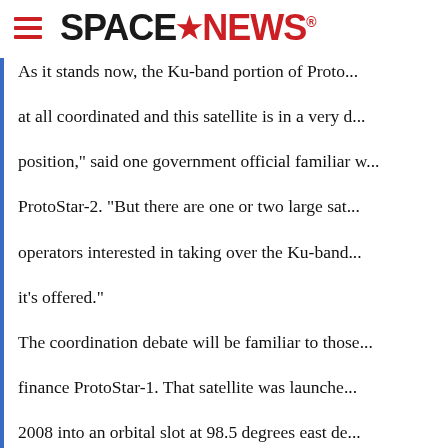SPACENEWS
As it stands now, the Ku-band portion of Proto... at all coordinated and this satellite is in a very d... position," said one government official familiar w... ProtoStar-2. "But there are one or two large sat... operators interested in taking over the Ku-band... it's offered."
The coordination debate will be familiar to those... finance ProtoStar-1. That satellite was launche... 2008 into an orbital slot at 98.5 degrees east de... protests from China, the United Arab Emirates a... that its owners, and the Singapore administratio... orbital reservation was being used, had failed t... its proposed broadcast frequencies.
Later that month,